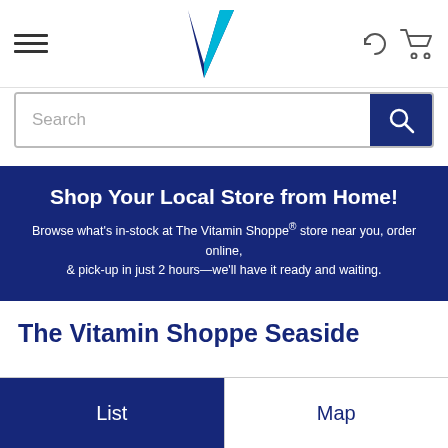[Figure (logo): Vitamin Shoppe V logo in navy and cyan]
Search
Shop Your Local Store from Home! Browse what's in-stock at The Vitamin Shoppe® store near you, order online, & pick-up in just 2 hours—we'll have it ready and waiting.
The Vitamin Shoppe Seaside
List
Map